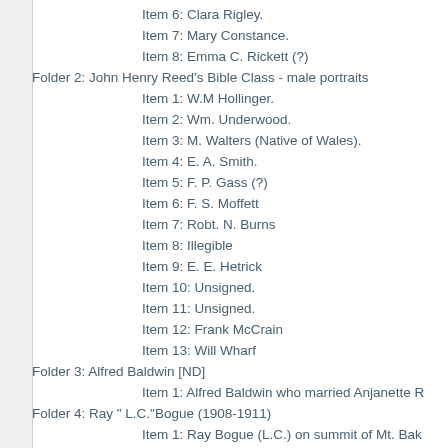Item 6: Clara Rigley.
Item 7: Mary Constance.
Item 8: Emma C. Rickett (?)
Folder 2: John Henry Reed's Bible Class - male portraits
Item 1: W.M Hollinger.
Item 2: Wm. Underwood.
Item 3: M. Walters (Native of Wales).
Item 4: E. A. Smith.
Item 5: F. P. Gass (?)
Item 6: F. S. Moffett
Item 7: Robt. N. Burns
Item 8: Illegible
Item 9: E. E. Hetrick
Item 10: Unsigned.
Item 11: Unsigned.
Item 12: Frank McCrain
Item 13: Will Wharf
Folder 3: Alfred Baldwin [ND]
Item 1: Alfred Baldwin who married Anjanette R
Folder 4: Ray " L.C."Bogue (1908-1911)
Item 1: Ray Bogue (L.C.) on summit of Mt. Bak
Item 2: L.C. Bogue at summit San Jacinto, M